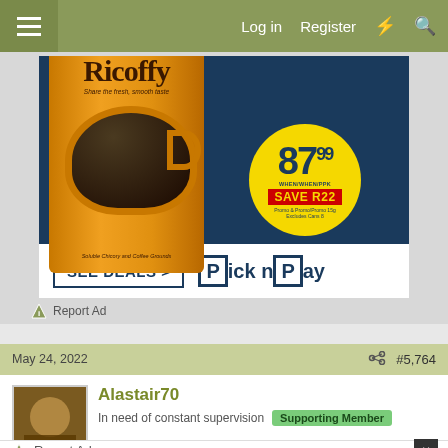≡   Log in   Register   ⚡   🔍
[Figure (photo): Ricoffy coffee advertisement showing a yellow can with a cup of coffee. Price sticker shows 87.99 with SAVE R22. Bottom bar has SEE DEALS > button and Pick n Pay logo.]
Report Ad
May 24, 2022   #5,764
Alastair70
In need of constant supervision   Supporting Member
Report Ad
Up To $75 Off on Goodyear Tires at Virginia Tire & Auto